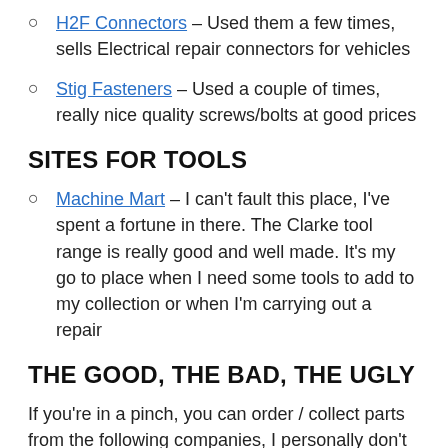H2F Connectors – Used them a few times, sells Electrical repair connectors for vehicles
Stig Fasteners – Used a couple of times, really nice quality screws/bolts at good prices
SITES FOR TOOLS
Machine Mart – I can't fault this place, I've spent a fortune in there. The Clarke tool range is really good and well made. It's my go to place when I need some tools to add to my collection or when I'm carrying out a repair
THE GOOD, THE BAD, THE UGLY
If you're in a pinch, you can order / collect parts from the following companies, I personally don't like them, because